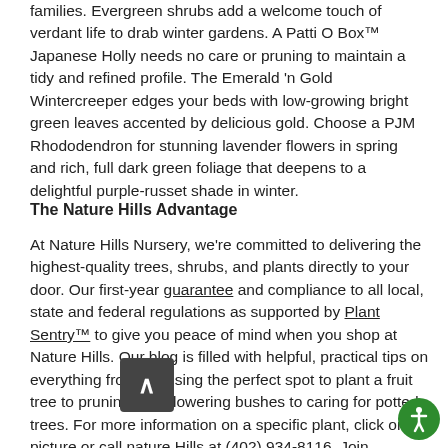families. Evergreen shrubs add a welcome touch of verdant life to drab winter gardens. A Patti O Box™ Japanese Holly needs no care or pruning to maintain a tidy and refined profile. The Emerald 'n Gold Wintercreeper edges your beds with low-growing bright green leaves accented by delicious gold. Choose a PJM Rhododendron for stunning lavender flowers in spring and rich, full dark green foliage that deepens to a delightful purple-russet shade in winter.
The Nature Hills Advantage
At Nature Hills Nursery, we're committed to delivering the highest-quality trees, shrubs, and plants directly to your door. Our first-year guarantee and compliance to all local, state and federal regulations as supported by Plant Sentry™ to give you peace of mind when you shop at Nature Hills. Our blog is filled with helpful, practical tips on everything from choosing the perfect spot to plant a fruit tree to pruning your flowering bushes to caring for potted trees. For more information on a specific plant, click on its picture or call nature Hills at (402) 934-8116. Join thousands of happy customers in finding the perfect plants for your corner of the...